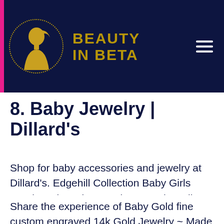[Figure (logo): Beauty In Beta website header with logo showing a golden female silhouette in a dotted circle, brand name 'BEAUTY IN BETA' in gold text on dark navy background, with pink left bar and hamburger menu icon on right]
8. Baby Jewelry | Dillard's
Shop for baby accessories and jewelry at Dillard's. Edgehill Collection Baby Girls Pearl Stud Earrings. Color Swatch – Silver (17)...
Share the experience of Baby Gold fine custom engraved 14k Gold Jewelry ~ Made In Los Angeles – Lifetime Guarantee – Free Shipping – Real Solid 14K Gold (18)